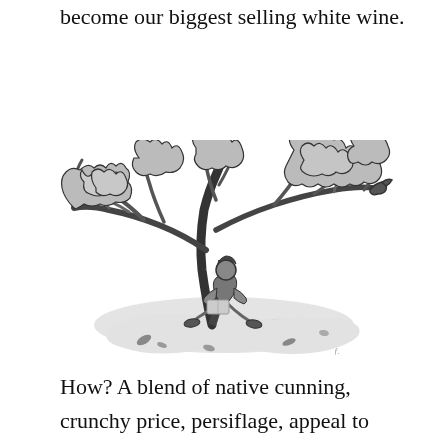become our biggest selling white wine.
[Figure (illustration): Black and white ink illustration of a person sitting under a large spreading tree, reading or playing an instrument. The tree has broad leafy branches. The ground beneath is shown as a light shaded organic shape with scattered leaves.]
How? A blend of native cunning, crunchy price, persiflage, appeal to